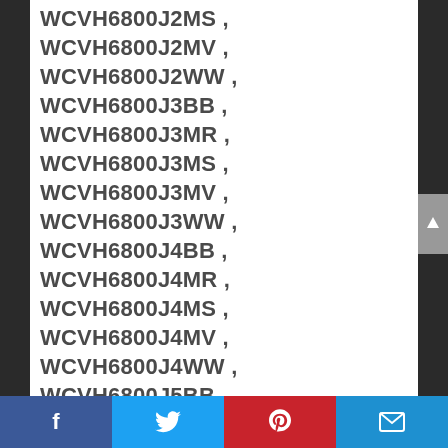WCVH6800J2MS , WCVH6800J2MV , WCVH6800J2WW , WCVH6800J3BB , WCVH6800J3MR , WCVH6800J3MS , WCVH6800J3MV , WCVH6800J3WW , WCVH6800J4BB , WCVH6800J4MR , WCVH6800J4MS , WCVH6800J4MV , WCVH6800J4WW , WCVH6800J5BB , WCVH6800J5MR , WCVH6800J5MS , WCVH6800J5MV , WCVH6800J5WW , WCVH6800K0MV , WCVH6850K0MV , WHDVH680J0BB , WHDVH680J0GG , WHDVH680J0MB , WHDVH680J0MR , WHDVH680J0MS , WHDVH680J0WW , WHDVH680J1MR , WHDVH680J1MS , WHDVH680J1WW
Facebook Twitter Pinterest Email